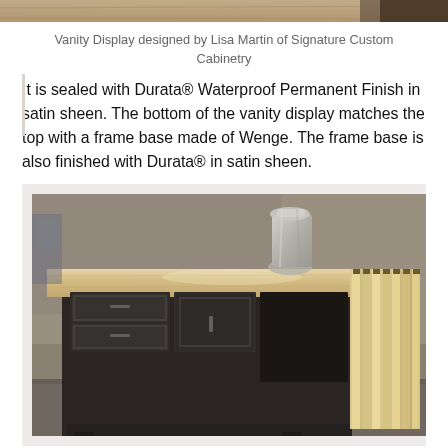[Figure (photo): Top portion of a vanity display cabinetry photo, cropped at top of page]
Vanity Display designed by Lisa Martin of Signature Custom Cabinetry
It is sealed with Durata® Waterproof Permanent Finish in satin sheen. The bottom of the vanity display matches the top with a frame base made of Wenge. The frame base is also finished with Durata® in satin sheen.
[Figure (photo): Photo of a vanity display cabinet with a light wood (Wenge) top countertop, dark matte black cabinet doors and drawers with bar pulls, open cubby, and decorative vertical slat side panel. A metallic vase sits on top. Background shows a workshop/showroom setting.]